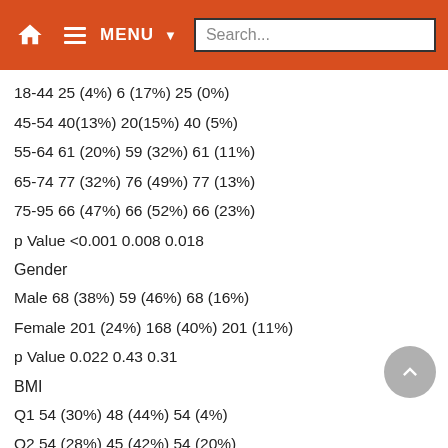MENU Search...
18-44 25 (4%) 6 (17%) 25 (0%)
45-54 40(13%) 20(15%) 40 (5%)
55-64 61 (20%) 59 (32%) 61 (11%)
65-74 77 (32%) 76 (49%) 77 (13%)
75-95 66 (47%) 66 (52%) 66 (23%)
p Value <0.001 0.008 0.018
Gender
Male 68 (38%) 59 (46%) 68 (16%)
Female 201 (24%) 168 (40%) 201 (11%)
p Value 0.022 0.43 0.31
BMI
Q1 54 (30%) 48 (44%) 54 (4%)
Q2 54 (28%) 45 (42%) 54 (20%)
Q3 54(15%) 41 (29%) 54(11%)
Q4 55 (33%) 46 (35%) 55 (15%)